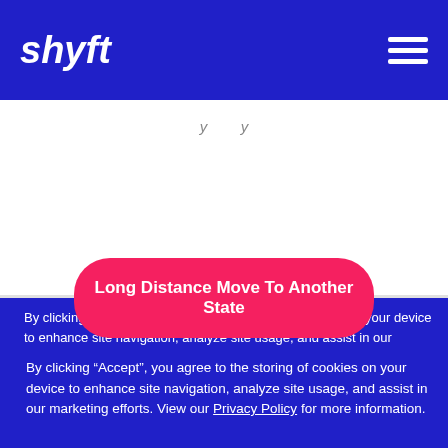shyft
Long Distance Move To Another State
By clicking “Accept”, you agree to the storing of cookies on your device to enhance site navigation, analyze site usage, and assist in our marketing efforts. View our Privacy Policy for more information.
DENY
ACCEPT
Preferences